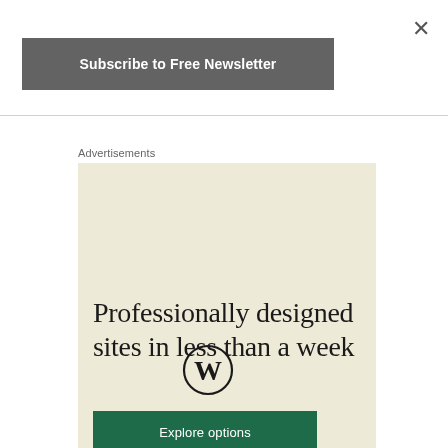×
Subscribe to Free Newsletter
Advertisements
[Figure (logo): WordPress logo — circular W mark in black outline on beige background]
Professionally designed sites in less than a week
Explore options